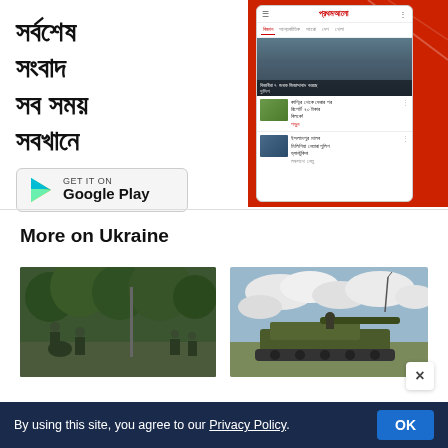[Figure (screenshot): Advertisement banner for Prothom Alo Bengali news app showing Bengali text 'সর্বশেষ সংবাদ সব সময় সবখানে' (Latest news, anytime, everywhere), a GET IT ON Google Play button, and a smartphone mockup showing the app interface with news articles.]
More on Ukraine
[Figure (photo): Photo of soldiers/military personnel working on equipment outdoors surrounded by trees]
[Figure (photo): Photo of a military tank against a cloudy sky]
By using this site, you agree to our Privacy Policy.